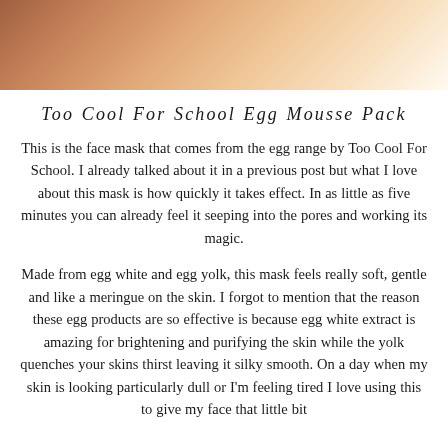[Figure (photo): Close-up photo of a hand holding an egg or beauty product, warm peachy/skin tones, cropped at top of page]
Too Cool For School Egg Mousse Pack
This is the face mask that comes from the egg range by Too Cool For School. I already talked about it in a previous post but what I love about this mask is how quickly it takes effect. In as little as five minutes you can already feel it seeping into the pores and working its magic.
Made from egg white and egg yolk, this mask feels really soft, gentle and like a meringue on the skin. I forgot to mention that the reason these egg products are so effective is because egg white extract is amazing for brightening and purifying the skin while the yolk quenches your skins thirst leaving it silky smooth. On a day when my skin is looking particularly dull or I'm feeling tired I love using this to give my face that little bit